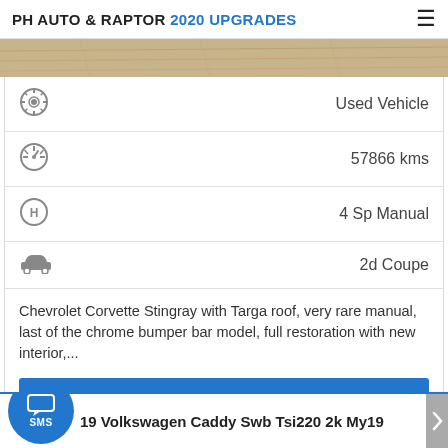PH AUTO & RAPTOR 2020 UPGRADES
[Figure (photo): Partial view of a wooden/tile floor surface strip image at the top of a vehicle listing card]
Used Vehicle
57866 kms
4 Sp Manual
2d Coupe
Chevrolet Corvette Stingray with Targa roof, very rare manual, last of the chrome bumper bar model, full restoration with new interior,...
View Details
SMS
2019 Volkswagen Caddy Swb Tsi220 2k My19